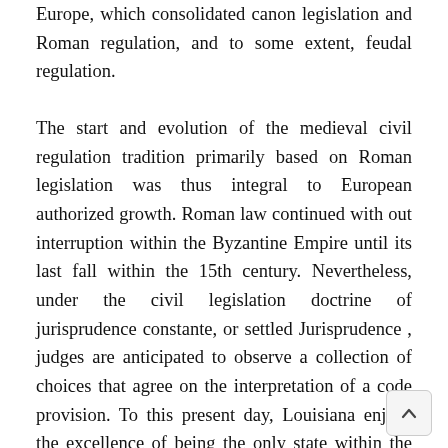Europe, which consolidated canon legislation and Roman regulation, and to some extent, feudal regulation.
The start and evolution of the medieval civil regulation tradition primarily based on Roman legislation was thus integral to European authorized growth. Roman law continued with out interruption within the Byzantine Empire until its last fall within the 15th century. Nevertheless, under the civil legislation doctrine of jurisprudence constante, or settled Jurisprudence , judges are anticipated to observe a collection of choices that agree on the interpretation of a code provision. To this present day, Louisiana enjoys the excellence of being the only state within the United States to have a civil regulation system